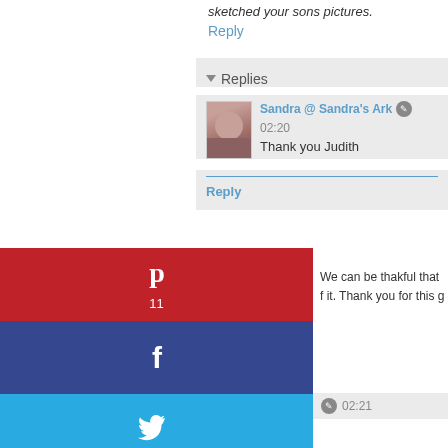sketched your sons pictures.
Reply
▾ Replies
Sandra @ Sandra's Ark  ✎  02:20
Thank you Judith
Reply
[Figure (infographic): Social share buttons: Pinterest (red, icon, count 11), Facebook (dark blue, f icon), Twitter (light blue, bird icon), and a fourth green button with a circle/eye icon]
We can be thakful that f it. Thank you for this g
✎  02:21